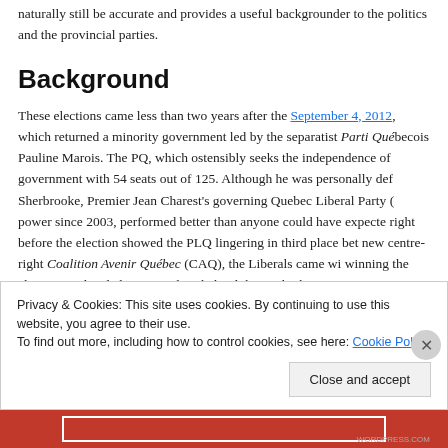naturally still be accurate and provides a useful backgrounder to the politics and the provincial parties.
Background
These elections came less than two years after the September 4, 2012 [link], which returned a minority government led by the separatist Parti Québécois Pauline Marois. The PQ, which ostensibly seeks the independence of government with 54 seats out of 125. Although he was personally defeated in Sherbrooke, Premier Jean Charest's governing Quebec Liberal Party (power since 2003, performed better than anyone could have expected right before the election showed the PLQ lingering in third place behind the new centre-right Coalition Avenir Québec (CAQ), the Liberals came without winning the election, and ended up very close behind the PQ both in ...
Privacy & Cookies: This site uses cookies. By continuing to use this website, you agree to their use.
To find out more, including how to control cookies, see here: Cookie Policy
Close and accept